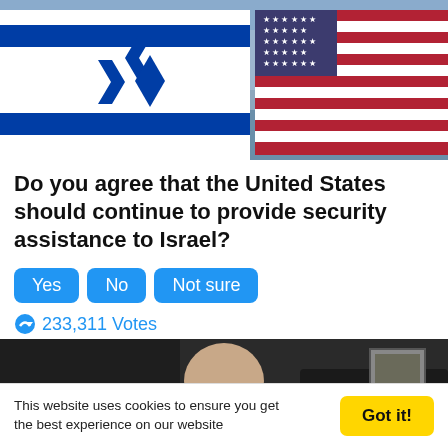[Figure (photo): Photo of Israeli flag and American flag side by side at an outdoor event with crowd and building in background]
Do you agree that the United States should continue to provide security assistance to Israel?
[Figure (other): Three clickable buttons labeled Yes, No, Not sure]
233,311 Votes
[Figure (photo): Photo of a person with head bowed, sitting at a desk or table]
This website uses cookies to ensure you get the best experience on our website